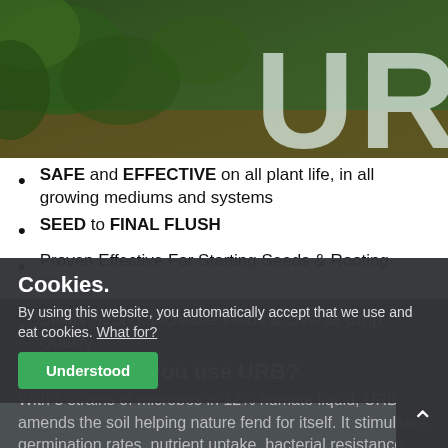[Figure (photo): Background photo of cannabis leaves on a wooden surface with large letters 'URB' in pale color overlaid on top]
SAFE and EFFECTIVE on all plant life, in all growing mediums and systems
SEED to FINAL FLUSH
Proven Effective For Starting Seeds & Rooting Clones
Builds Strong. Increase Yields & Overall Crop Quality
Why should you use URB?
With 5 strains of microbes in 12% humate liquid, URB amends the soil helping nature fend for itself. It stimulates germination rates, nutrient uptake, bacterial resistance, root
Cookies.
By using this website, you automatically accept that we use and eat cookies. What for?
Understood